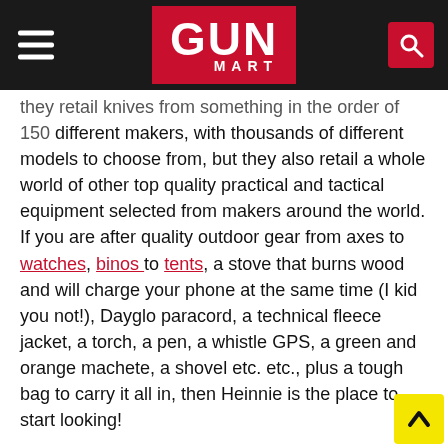GUN MART
they retail knives from something in the order of 150 different makers, with thousands of different models to choose from, but they also retail a whole world of other top quality practical and tactical equipment selected from makers around the world. If you are after quality outdoor gear from axes to watches, binos to tents, a stove that burns wood and will charge your phone at the same time (I kid you not!), Dayglo paracord, a technical fleece jacket, a torch, a pen, a whistle GPS, a green and orange machete, a shovel etc. etc., plus a tough bag to carry it all in, then Heinnie is the place to start looking!
Size Matters!
With about 3,600 sq ft of their 7,000 sq ft premises devoted to racks and racks of stock (staff are complaining they are running out of space), Heinnie is no small business, but back in 1996 when Bruce Bollington set up the company,